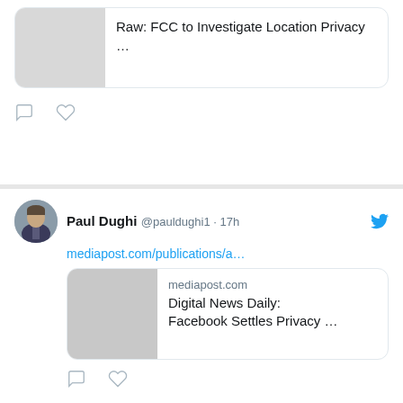[Figure (screenshot): Partial Twitter/X feed showing three tweets by Paul Dughi (@pauldughi1). First tweet (partial, top) shows a link card mentioning 'Raw: FCC to Investigate Location Privacy …' with comment and like icons. Second tweet shows a link to mediapost.com/publications/a… with a link card for 'mediapost.com / Digital News Daily: Facebook Settles Privacy …' and comment/like icons. Third tweet shows a link to socialmediatoday.com/news/youtube-s… with a partial link card image below.]